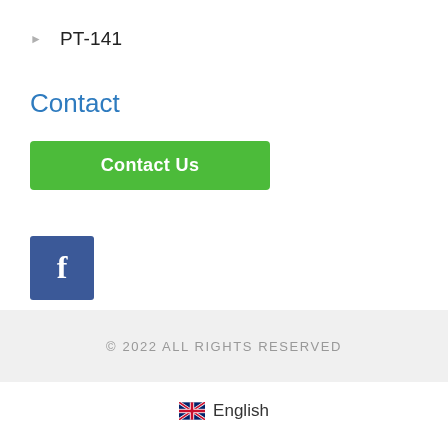PT-141
Contact
[Figure (other): Green Contact Us button]
[Figure (other): Facebook social media icon button (blue square with white f)]
[Figure (other): Green organizational chart / sitemap icon]
© 2022 ALL RIGHTS RESERVED
English